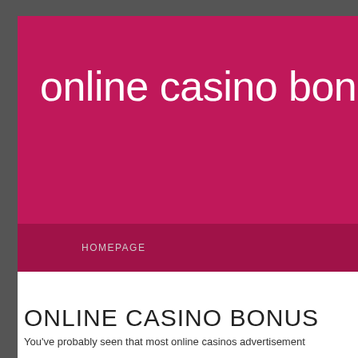online casino bonus
HOMEPAGE
ONLINE CASINO BONUS
You've probably seen that most online casinos advertisement